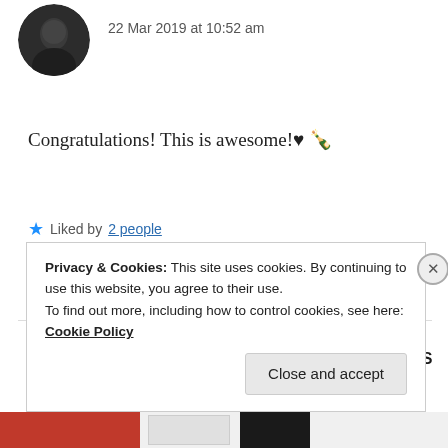22 Mar 2019 at 10:52 am
Congratulations! This is awesome!♥🍾
★ Liked by 2 people
REPLY
ZEALOUS HOMO SAPIENS
22 Mar 2019 at 10:56 am
Privacy & Cookies: This site uses cookies. By continuing to use this website, you agree to their use.
To find out more, including how to control cookies, see here: Cookie Policy
Close and accept